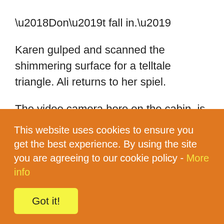‘Don’t fall in.’
Karen gulped and scanned the shimmering surface for a telltale triangle. Ali returns to her spiel.
The video camera here on the cabin, is for those who want a memento of their fun filled adventure. If you fall overboard, it is also to prove it wasn’t me who provided the push. It also encourages me to resist the temptation,
This website uses cookies to ensure you get the best experience. By using the site you are agreeing to our cookie policy - More info
Got it!